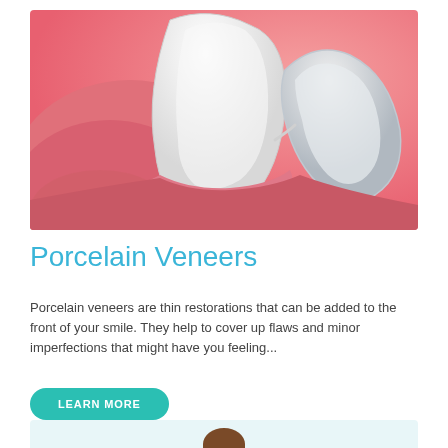[Figure (illustration): 3D dental illustration showing a porcelain veneer being placed on a tooth against a pink/coral background, with gum tissue visible]
Porcelain Veneers
Porcelain veneers are thin restorations that can be added to the front of your smile. They help to cover up flaws and minor imperfections that might have you feeling...
LEARN MORE
[Figure (photo): Partial view of a person's head/face at the bottom of the page, cropped, on a light blue background]